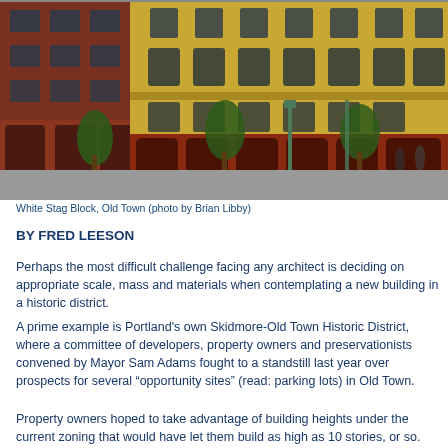[Figure (photo): Street-level photograph of the White Stag Block in Old Town, Portland. Shows historic multi-story brick buildings: a red brick building on the left and a yellow/tan building on the right with arched windows and ornate detailing. Large red storefront windows at ground level. Street trees and sidewalk visible in foreground.]
White Stag Block, Old Town (photo by Brian Libby)
BY FRED LEESON
Perhaps the most difficult challenge facing any architect is deciding on appropriate scale, mass and materials when contemplating a new building in a historic district.
A prime example is Portland's own Skidmore-Old Town Historic District, where a committee of developers, property owners and preservationists convened by Mayor Sam Adams fought to a standstill last year over prospects for several “opportunity sites” (read: parking lots) in Old Town.
Property owners hoped to take advantage of building heights under the current zoning that would have let them build as high as 10 stories, or so. Historians